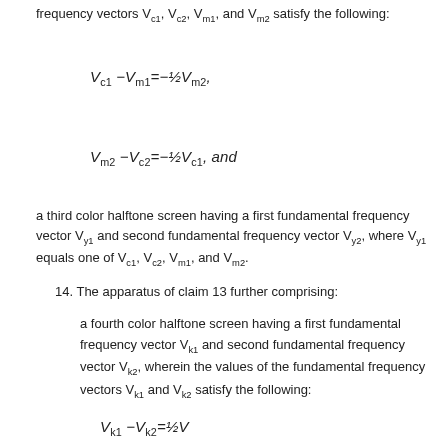frequency vectors V_c1, V_c2, V_m1, and V_m2 satisfy the following:
a third color halftone screen having a first fundamental frequency vector V_y1 and second fundamental frequency vector V_y2, where V_y1 equals one of V_c1, V_c2, V_m1, and V_m2.
14. The apparatus of claim 13 further comprising:
a fourth color halftone screen having a first fundamental frequency vector V_k1 and second fundamental frequency vector V_k2, wherein the values of the fundamental frequency vectors V_k1 and V_k2 satisfy the following: